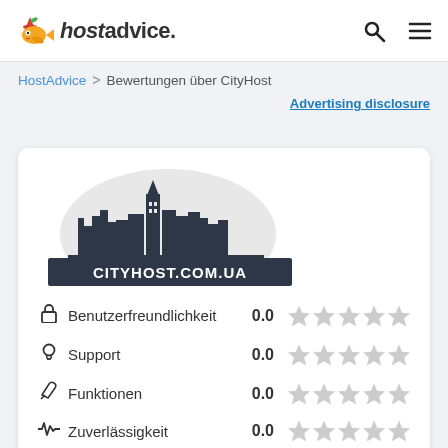hostadvice.
HostAdvice > Bewertungen über CityHost
Advertising disclosure
[Figure (logo): CityHost.com.ua logo showing a city skyline silhouette inside a semicircle above a dark banner with text CITYHOST.COM.UA]
Benutzerfreundlichkeit 0.0 ☆☆☆☆☆
Support 0.0 ☆☆☆☆☆
Funktionen 0.0 ☆☆☆☆☆
Zuverlässigkeit 0.0 ☆☆☆☆☆